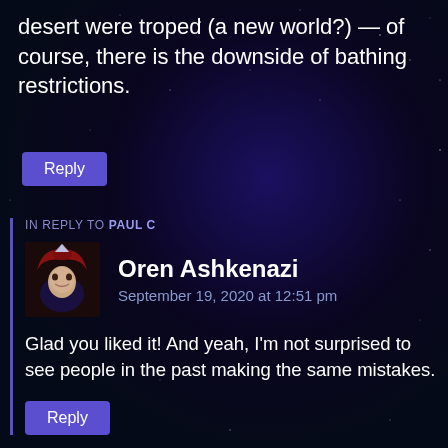desert were troped (a new world?) — of course, there is the downside of bathing restrictions.
Reply
IN REPLY TO PAUL C
Oren Ashkenazi
September 19, 2020 at 12:51 pm
Glad you liked it! And yeah, I'm not surprised to see people in the past making the same mistakes.
Reply